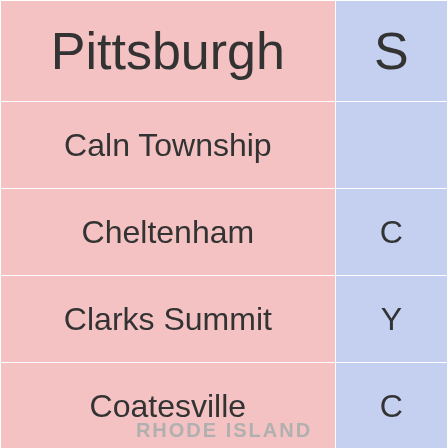| Pittsburgh | S[truncated] |
| --- | --- |
| Caln Township |  |
| Cheltenham | C... |
| Clarks Summit | Y... |
| Coatesville | C... |
| Curwensville | W... |
| Dalton | Dal... |
| Drumore Township |  |
| Fleetwood | F... |
| Nanty Glo |  |
RHODE ISLAND